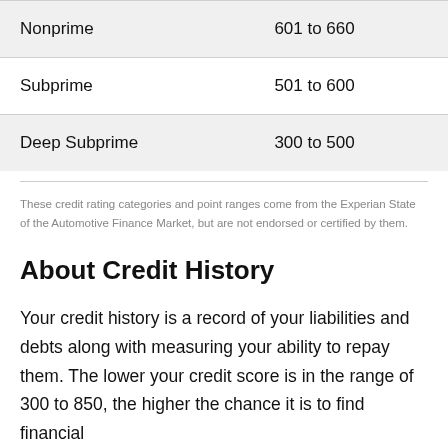| Category | Range |
| --- | --- |
| Nonprime | 601 to 660 |
| Subprime | 501 to 600 |
| Deep Subprime | 300 to 500 |
These credit rating categories and point ranges come from the Experian State of the Automotive Finance Market, but are not endorsed or certified by them.
About Credit History
Your credit history is a record of your liabilities and debts along with measuring your ability to repay them. The lower your credit score is in the range of 300 to 850, the higher the chance it is to find financial